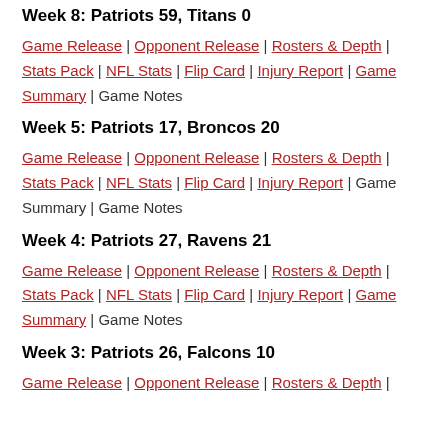Week 8: Patriots 59, Titans 0
Game Release | Opponent Release | Rosters & Depth | Stats Pack | NFL Stats | Flip Card | Injury Report | Game Summary | Game Notes
Week 5: Patriots 17, Broncos 20
Game Release | Opponent Release | Rosters & Depth | Stats Pack | NFL Stats | Flip Card | Injury Report | Game Summary | Game Notes
Week 4: Patriots 27, Ravens 21
Game Release | Opponent Release | Rosters & Depth | Stats Pack | NFL Stats | Flip Card | Injury Report | Game Summary | Game Notes
Week 3: Patriots 26, Falcons 10
Game Release | Opponent Release | Rosters & Depth |